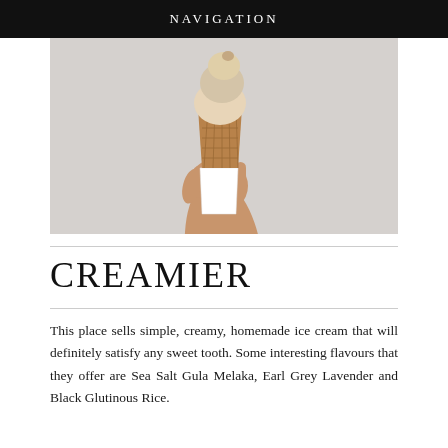NAVIGATION
[Figure (photo): A hand holding a waffle ice cream cone with scoops of ice cream on top, photographed against a light grey wall background.]
CREAMIER
This place sells simple, creamy, homemade ice cream that will definitely satisfy any sweet tooth. Some interesting flavours that they offer are Sea Salt Gula Melaka, Earl Grey Lavender and Black Glutinous Rice.